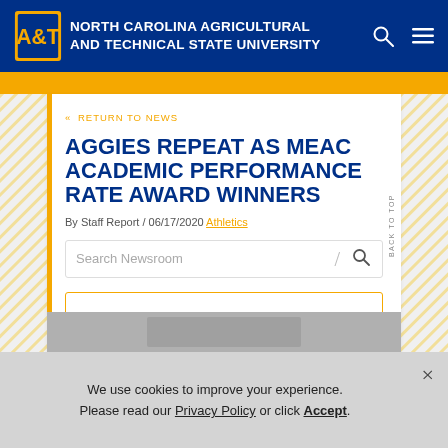North Carolina Agricultural and Technical State University
« RETURN TO NEWS
AGGIES REPEAT AS MEAC ACADEMIC PERFORMANCE RATE AWARD WINNERS
By Staff Report / 06/17/2020 Athletics
Search Newsroom
We use cookies to improve your experience. Please read our Privacy Policy or click Accept.
[Figure (photo): Bottom partial image strip showing a photo]